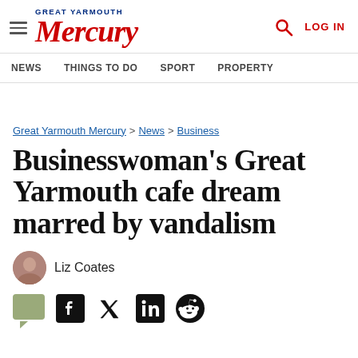Great Yarmouth Mercury
NEWS  THINGS TO DO  SPORT  PROPERTY
Great Yarmouth Mercury > News > Business
Businesswoman's Great Yarmouth cafe dream marred by vandalism
Liz Coates